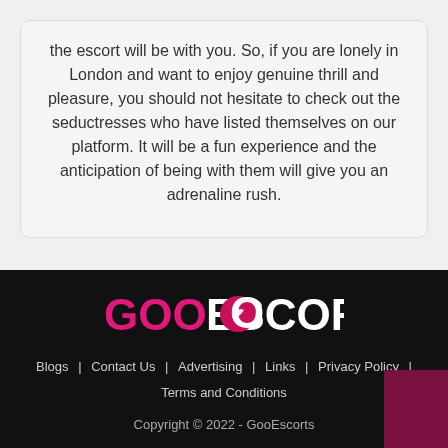the escort will be with you. So, if you are lonely in London and want to enjoy genuine thrill and pleasure, you should not hesitate to check out the seductresses who have listed themselves on our platform. It will be a fun experience and the anticipation of being with them will give you an adrenaline rush.
[Figure (logo): GooEscorts logo in pink and white text on dark background]
Blogs | Contact Us | Advertising | Links | Privacy Policy | Terms and Conditions
Copyright © 2022 - GooEscorts